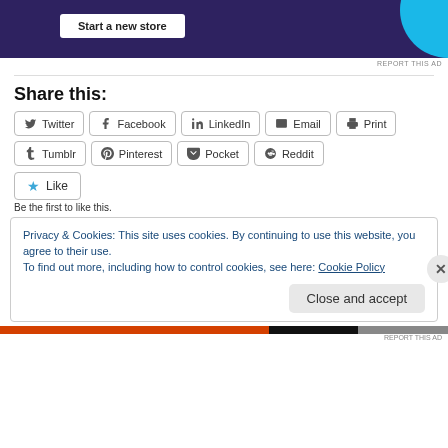[Figure (other): Advertisement banner with dark purple background, 'Start a new store' button, and cyan decorative circle shape. 'REPORT THIS AD' text below.]
Share this:
Twitter Facebook LinkedIn Email Print Tumblr Pinterest Pocket Reddit (share buttons)
Like
Be the first to like this.
Privacy & Cookies: This site uses cookies. By continuing to use this website, you agree to their use.
To find out more, including how to control cookies, see here: Cookie Policy
Close and accept